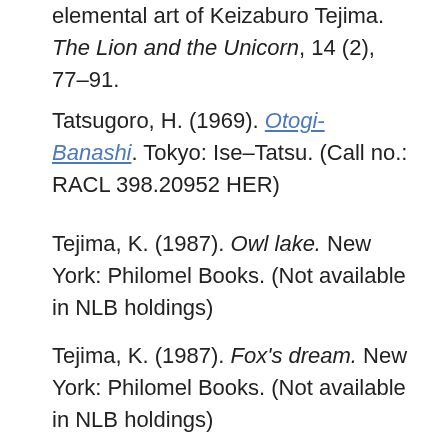elemental art of Keizaburo Tejima. The Lion and the Unicorn, 14 (2), 77–91.
Tatsugoro, H. (1969). Otogi-Banashi. Tokyo: Ise–Tatsu. (Call no.: RACL 398.20952 HER)
Tejima, K. (1987). Owl lake. New York: Philomel Books. (Not available in NLB holdings)
Tejima, K. (1987). Fox's dream. New York: Philomel Books. (Not available in NLB holdings)